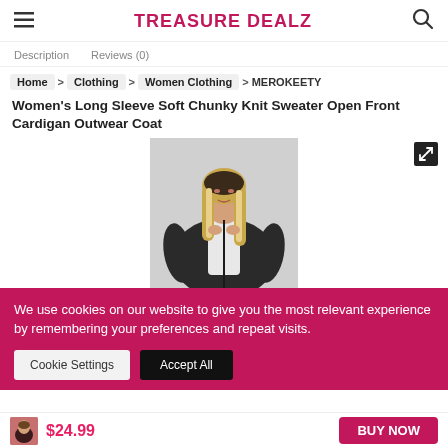TREASURE DEALZ
Description   Reviews (0)
Home > Clothing > Women Clothing > MEROKEETY
Women's Long Sleeve Soft Chunky Knit Sweater Open Front Cardigan Outwear Coat
[Figure (photo): Woman wearing a dark chunky knit open front cardigan sweater over a white top, with long blonde hair]
We use cookies on our website to give you the most relevant experience by remembering your preferences and repeat visits.
Cookie Settings   Accept All
$24.99
BUY NOW